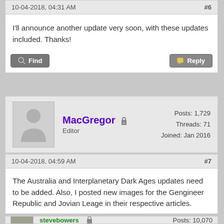10-04-2018, 04:31 AM  #6
I'll announce another update very soon, with these updates included. Thanks!
MacGregor  Editor  Posts: 1,729  Threads: 71  Joined: Jan 2016
10-04-2018, 04:59 AM  #7
The Australia and Interplanetary Dark Ages updates need to be added. Also, I posted new images for the Gengineer Republic and Jovian Leage in their respective articles.
stevebowers  Posts: 10,070